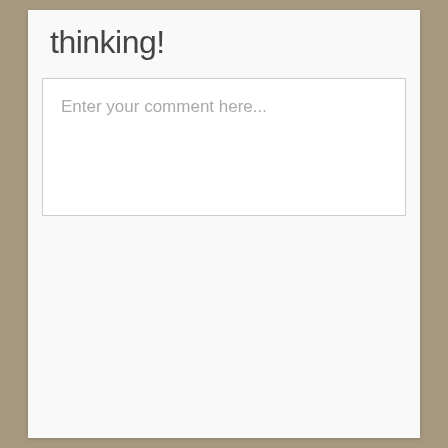thinking!
Enter your comment here...